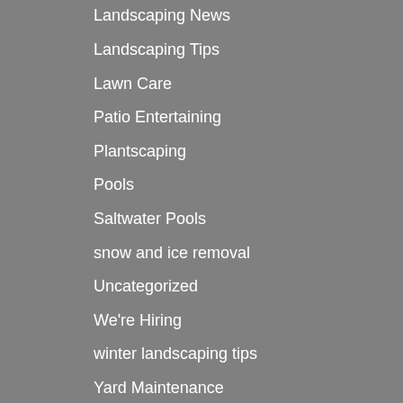Landscaping News
Landscaping Tips
Lawn Care
Patio Entertaining
Plantscaping
Pools
Saltwater Pools
snow and ice removal
Uncategorized
We're Hiring
winter landscaping tips
Yard Maintenance